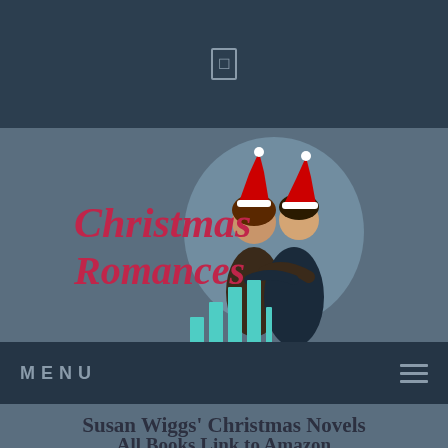[Figure (logo): Christmas Romances logo with cursive red text and illustrated couple in Santa hats embracing, with teal bar chart decoration]
MENU
Susan Wiggs' Christmas Novels
All Books Link to Amazon